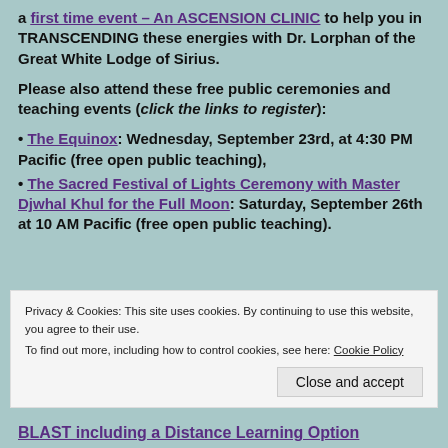a first time event – An ASCENSION CLINIC to help you in TRANSCENDING these energies with Dr. Lorphan of the Great White Lodge of Sirius.
Please also attend these free public ceremonies and teaching events (click the links to register):
• The Equinox: Wednesday, September 23rd, at 4:30 PM Pacific (free open public teaching),
• The Sacred Festival of Lights Ceremony with Master Djwhal Khul for the Full Moon: Saturday, September 26th at 10 AM Pacific (free open public teaching).
Privacy & Cookies: This site uses cookies. By continuing to use this website, you agree to their use. To find out more, including how to control cookies, see here: Cookie Policy
Close and accept
BLAST including a Distance Learning Option